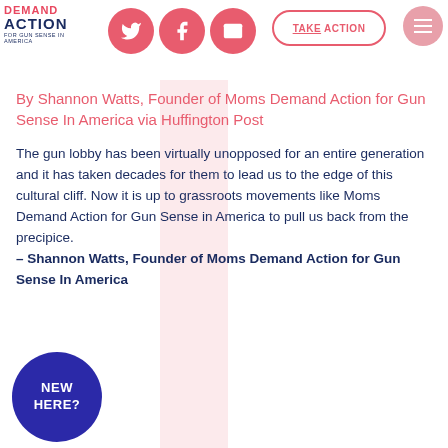[Figure (logo): Moms Demand Action for Gun Sense in America logo with red DEMAND ACTION text]
[Figure (infographic): Social media share buttons (Twitter, Facebook, Email) as red circles, Take Action button outline, hamburger menu circle]
By Shannon Watts, Founder of Moms Demand Action for Gun Sense In America via Huffington Post
The gun lobby has been virtually unopposed for an entire generation and it has taken decades for them to lead us to the edge of this cultural cliff. Now it is up to grassroots movements like Moms Demand Action for Gun Sense in America to pull us back from the precipice. – Shannon Watts, Founder of Moms Demand Action for Gun Sense In America
[Figure (infographic): Dark blue circle button with white bold text NEW HERE?]